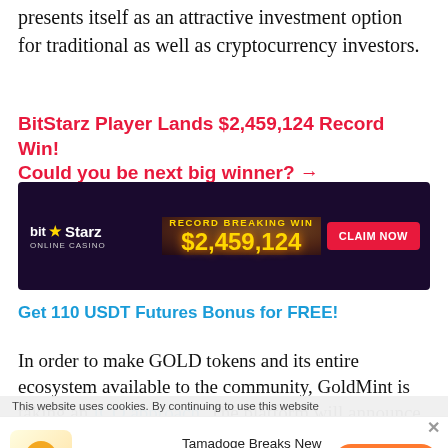presents itself as an attractive investment option for traditional as well as cryptocurrency investors.
BitStarz Player Lands $2,459,124 Record Win! Could you be next big winner? →
[Figure (infographic): BitStarz Online Casino banner showing 'RECORD BREAKING WIN $2,459,124' with a CLAIM NOW button and cartoon genie characters on a dark purple/gold background.]
Get 110 USDT Futures Bonus for FREE!
In order to make GOLD tokens and its entire ecosystem available to the community, GoldMint is taking an ICO approach. The platform will announce the details of its ICO by August 20, 2017, providing an
This website uses cookies. By continuing to use this website
[Figure (infographic): Bottom ad banner: Tamadoge Breaks New Record with Presale Campaign. TRENDING CRYPTOS label on left with dog/chart icon. INVEST NOW orange button on right.]